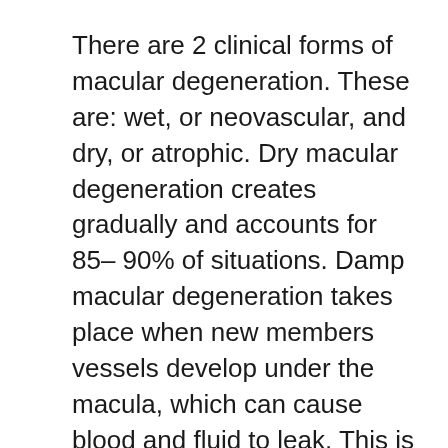There are 2 clinical forms of macular degeneration. These are: wet, or neovascular, and dry, or atrophic. Dry macular degeneration creates gradually and accounts for 85– 90% of situations. Damp macular degeneration takes place when new members vessels develop under the macula, which can cause blood and fluid to leak. This is the much more major type as well as can cause serious vision loss. The damp type also creates quicker.
What supplements may help?
Many people might consider dietary supplements to help protect against or slow the progression of macular deterioration. The